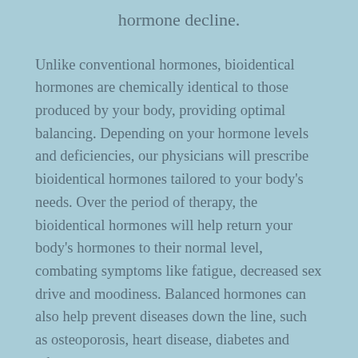hormone decline.
Unlike conventional hormones, bioidentical hormones are chemically identical to those produced by your body, providing optimal balancing. Depending on your hormone levels and deficiencies, our physicians will prescribe bioidentical hormones tailored to your body's needs. Over the period of therapy, the bioidentical hormones will help return your body's hormones to their normal level, combating symptoms like fatigue, decreased sex drive and moodiness. Balanced hormones can also help prevent diseases down the line, such as osteoporosis, heart disease, diabetes and others.